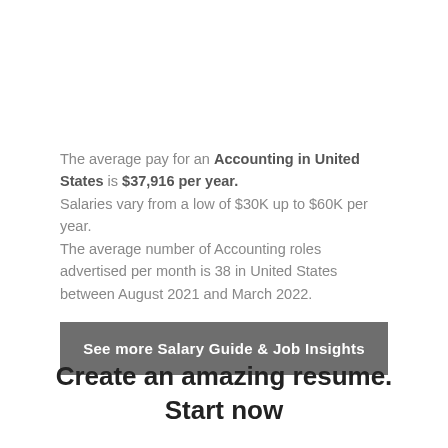The average pay for an Accounting in United States is $37,916 per year. Salaries vary from a low of $30K up to $60K per year. The average number of Accounting roles advertised per month is 38 in United States between August 2021 and March 2022.
See more Salary Guide & Job Insights
Create an amazing resume. Start now